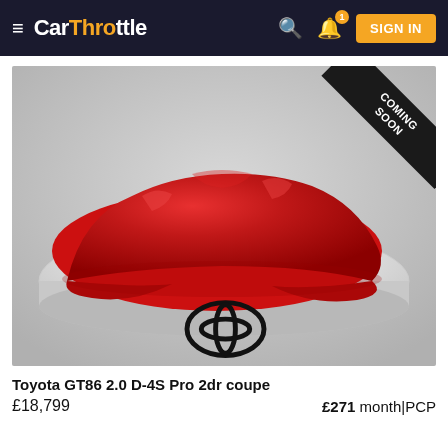CarThrottle — SIGN IN
[Figure (photo): Car covered in a red drape/cloth on a white circular podium, with Toyota logo visible below. A 'COMING SOON' ribbon banner is displayed in the top-right corner of the image.]
Toyota GT86 2.0 D-4S Pro 2dr coupe
£18,799    £271 month|PCP